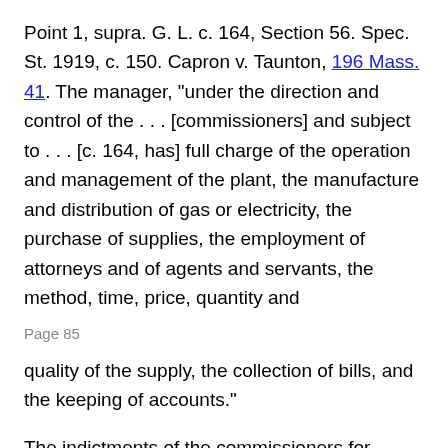Point 1, supra. G. L. c. 164, Section 56. Spec. St. 1919, c. 150. Capron v. Taunton, 196 Mass. 41. The manager, "under the direction and control of the . . . [commissioners] and subject to . . . [c. 164, has] full charge of the operation and management of the plant, the manufacture and distribution of gas or electricity, the purchase of supplies, the employment of attorneys and of agents and servants, the method, time, price, quantity and
Page 85
quality of the supply, the collection of bills, and the keeping of accounts."
The indictments of the commissioners for violation of G. L. c. 268, Section 9, in the taking of presents from